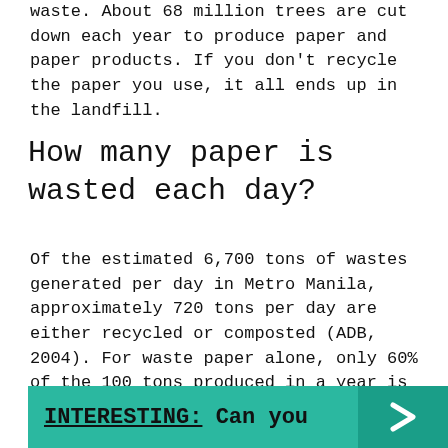waste. About 68 million trees are cut down each year to produce paper and paper products. If you don't recycle the paper you use, it all ends up in the landfill.
How many paper is wasted each day?
Of the estimated 6,700 tons of wastes generated per day in Metro Manila, approximately 720 tons per day are either recycled or composted (ADB, 2004). For waste paper alone, only 60% of the 100 tons produced in a year is being recycled and the rest goes to the landfill.
INTERESTING: Can you